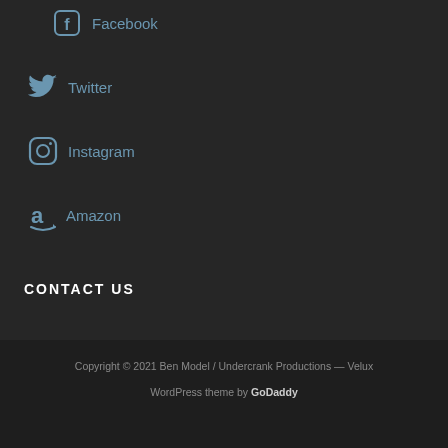Facebook
Twitter
Instagram
Amazon
CONTACT US
Copyright © 2021 Ben Model / Undercrank Productions — Velux
WordPress theme by GoDaddy